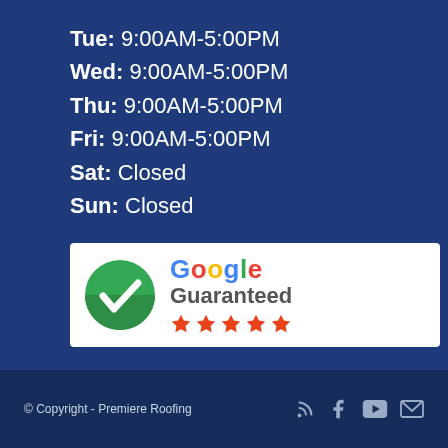Tue: 9:00AM-5:00PM
Wed: 9:00AM-5:00PM
Thu: 9:00AM-5:00PM
Fri: 9:00AM-5:00PM
Sat: Closed
Sun: Closed
[Figure (logo): Google Guaranteed badge with green checkmark circle and five orange stars]
© Copyright - Premiere Roofing